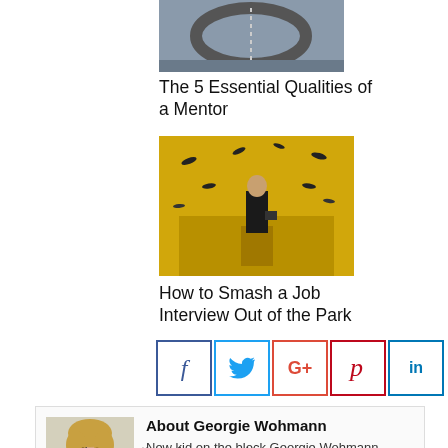[Figure (photo): Aerial photo of a curved road or track, gray tones]
The 5 Essential Qualities of a Mentor
[Figure (photo): Man in suit standing with briefcase in a golden-yellow room with cameras or birds flying around]
How to Smash a Job Interview Out of the Park
[Figure (infographic): Social share buttons: Facebook, Twitter, Google+, Pinterest, LinkedIn]
[Figure (photo): Portrait photo of Georgie Wohmann, a woman with blonde hair wearing a teal top]
About Georgie Wohmann
New kid on the block Georgie Wohmann brings some fresh perspective on matters of money and